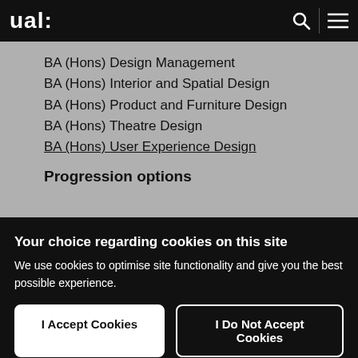ual:
BA (Hons) Design Management
BA (Hons) Interior and Spatial Design
BA (Hons) Product and Furniture Design
BA (Hons) Theatre Design
BA (Hons) User Experience Design
Progression options
Your choice regarding cookies on this site
We use cookies to optimise site functionality and give you the best possible experience.
I Accept Cookies
I Do Not Accept Cookies
Settings